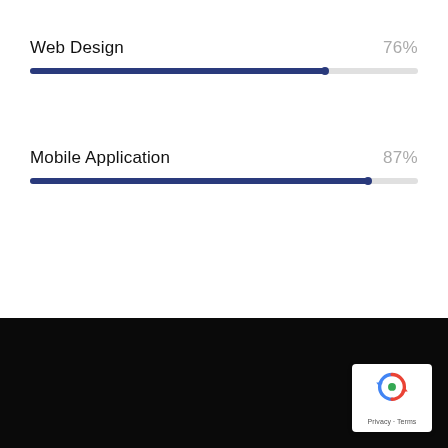[Figure (infographic): Two horizontal skill progress bars. Web Design at 76% and Mobile Application at 87%, shown as thin bars with dark navy fill on light grey track.]
[Figure (other): Black background section at the bottom of the page with a reCAPTCHA badge in the bottom-right corner showing the Google reCAPTCHA logo and Privacy - Terms text.]